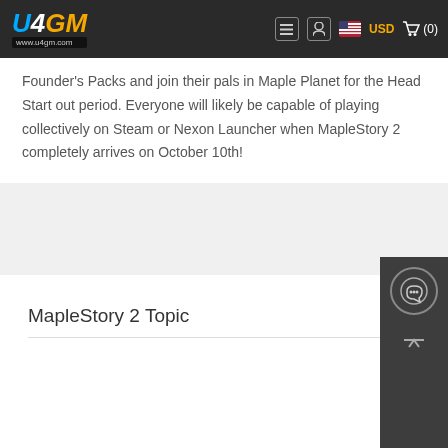U4GM www.u4gm.com | USD (0)
Founder's Packs and join their pals in Maple Planet for the Head Start out period. Everyone will likely be capable of playing collectively on Steam or Nexon Launcher when MapleStory 2 completely arrives on October 10th!
MapleStory 2 Topic